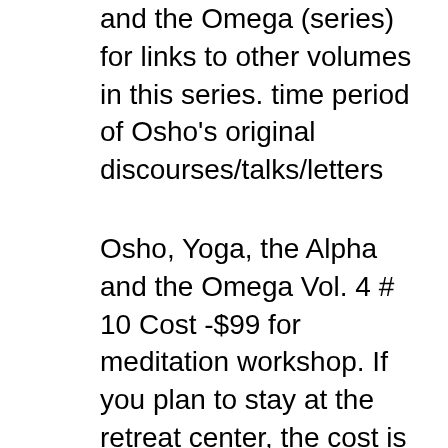and the Omega (series) for links to other volumes in this series. time period of Osho's original discourses/talks/letters
Osho, Yoga, the Alpha and the Omega Vol. 4 # 10 Cost -$99 for meditation workshop. If you plan to stay at the retreat center, the cost is $100 per person per night in a double occupancy room which also includes 3 meals. Please contact us at the earliest if you plan to stay at the retreat center as we have booked only limited rooms. Single occupancy rooms can be provided at additional cost. Universe pdf , Free Alpha And Omega The Search For The Beginning And End Of The Universe